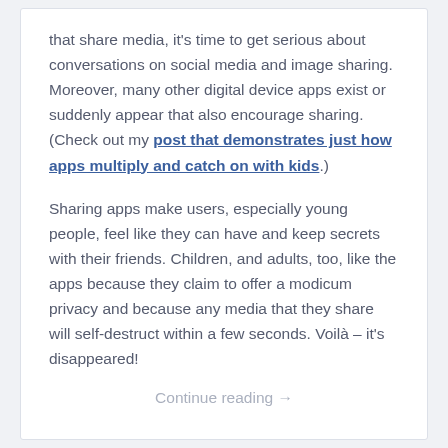that share media, it's time to get serious about conversations on social media and image sharing. Moreover, many other digital device apps exist or suddenly appear that also encourage sharing. (Check out my post that demonstrates just how apps multiply and catch on with kids.)
Sharing apps make users, especially young people, feel like they can have and keep secrets with their friends. Children, and adults, too, like the apps because they claim to offer a modicum privacy and because any media that they share will self-destruct within a few seconds. Voilà – it's disappeared!
Continue reading →